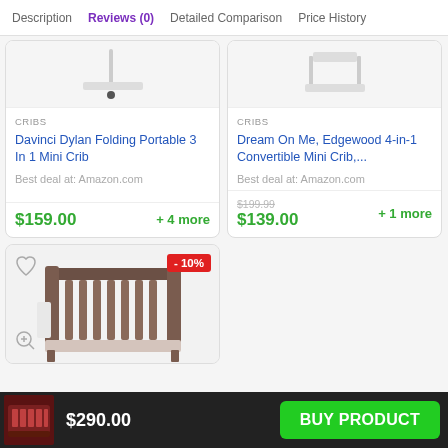Description | Reviews (0) | Detailed Comparison | Price History
[Figure (photo): Product image of Davinci Dylan Folding Portable 3 In 1 Mini Crib - partial top view]
CRIBS
Davinci Dylan Folding Portable 3 In 1 Mini Crib
Best deal at: Amazon.com
$159.00
+ 4 more
[Figure (photo): Product image of Dream On Me Edgewood 4-in-1 Convertible Mini Crib - partial top view]
CRIBS
Dream On Me, Edgewood 4-in-1 Convertible Mini Crib,...
Best deal at: Amazon.com
$199.99 (original), $139.00 (sale)
+ 1 more
[Figure (photo): Product image of a dark grey/brown convertible crib with vertical slats, shown with - 10% discount badge]
- 10%
$290.00
BUY PRODUCT